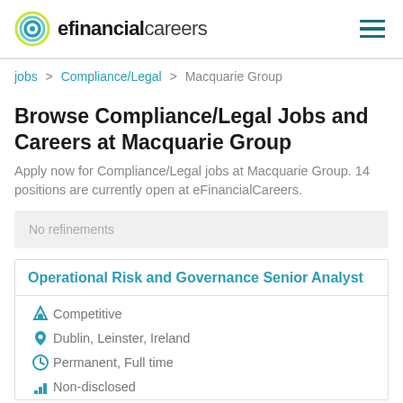efinancialcareers
jobs > Compliance/Legal > Macquarie Group
Browse Compliance/Legal Jobs and Careers at Macquarie Group
Apply now for Compliance/Legal jobs at Macquarie Group. 14 positions are currently open at eFinancialCareers.
No refinements
Operational Risk and Governance Senior Analyst
Competitive
Dublin, Leinster, Ireland
Permanent, Full time
Non-disclosed